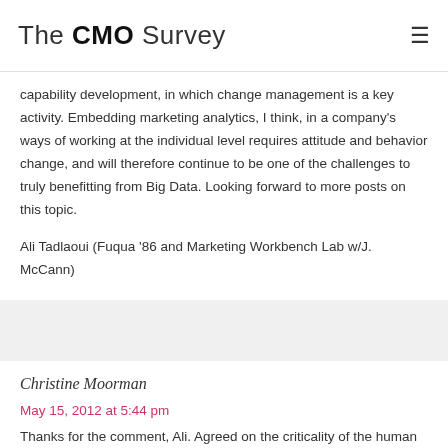The CMO Survey
capability development, in which change management is a key activity. Embedding marketing analytics, I think, in a company's ways of working at the individual level requires attitude and behavior change, and will therefore continue to be one of the challenges to truly benefitting from Big Data. Looking forward to more posts on this topic.
Ali Tadlaoui (Fuqua '86 and Marketing Workbench Lab w/J. McCann)
Christine Moorman
May 15, 2012 at 5:44 pm
Thanks for the comment, Ali. Agreed on the criticality of the human element. Marketing analytics will not be a force for effective strategy unless is it